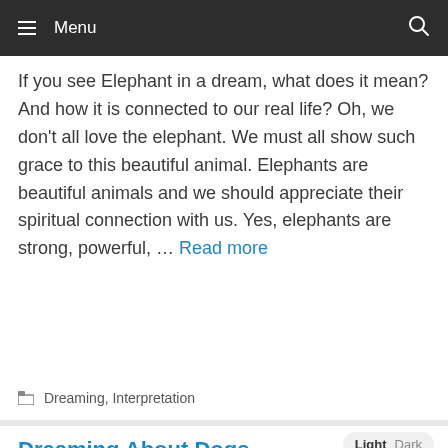Menu
If you see Elephant in a dream, what does it mean? And how it is connected to our real life? Oh, we don't all love the elephant. We must all show such grace to this beautiful animal. Elephants are beautiful animals and we should appreciate their spiritual connection with us. Yes, elephants are strong, powerful, … Read more
Dreaming, Interpretation
Dreaming About Dogs, Meaning and Symbolism